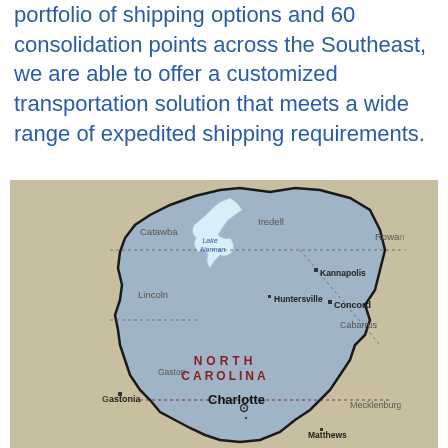portfolio of shipping options and 60 consolidation points across the Southeast, we are able to offer a customized transportation solution that meets a wide range of expedited shipping requirements.
[Figure (map): Map of the greater Charlotte, North Carolina region showing county boundaries including Mecklenburg, Cabarrus, Rowan, Iredell, Lincoln, Catawba, Gaston counties and cities including Charlotte, Concord, Kannapolis, Huntersville, Gastonia, Matthews, with Lake Norman visible in the north.]